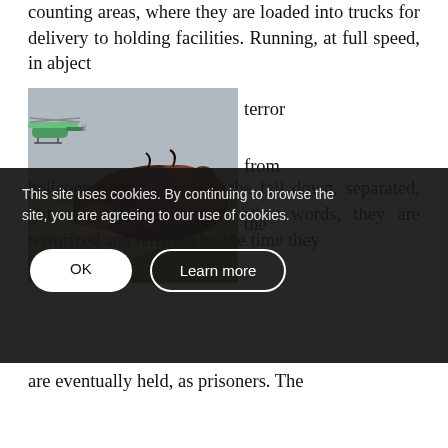counting areas, where they are loaded into trucks for delivery to holding facilities. Running, at full speed, in abject terror from the
[Figure (photo): A herd of wild horses running at full speed across a dry grassland, with a helicopter visible in the upper left pursuing them.]
heli... the fall down ... separated from foals... other words, they are terrorized and terrified by the time they are eventually held, as prisoners. The